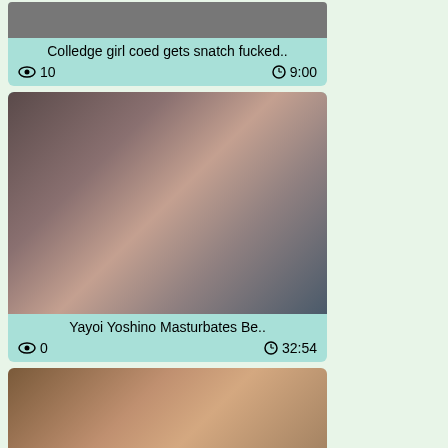[Figure (photo): Thumbnail image for first video card, partially visible at top]
Colledge girl coed gets snatch fucked..
👁 10    🕐 9:00
[Figure (photo): Thumbnail image for second video - Yayoi Yoshino]
Yayoi Yoshino Masturbates Be..
👁 0    🕐 32:54
[Figure (photo): Thumbnail image for third video card, partially visible at bottom]